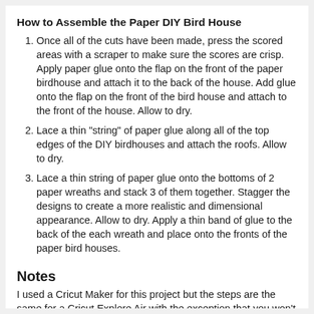How to Assemble the Paper DIY Bird House
Once all of the cuts have been made, press the scored areas with a scraper to make sure the scores are crisp. Apply paper glue onto the flap on the front of the paper birdhouse and attach it to the back of the house. Add glue onto the flap on the front of the bird house and attach to the front of the house. Allow to dry.
Lace a thin "string" of paper glue along all of the top edges of the DIY birdhouses and attach the roofs. Allow to dry.
Lace a thin string of paper glue onto the bottoms of 2 paper wreaths and stack 3 of them together. Stagger the designs to create a more realistic and dimensional appearance. Allow to dry. Apply a thin band of glue to the back of the each wreath and place onto the fronts of the paper bird houses.
Notes
I used a Cricut Maker for this project but the steps are the same for a Cricut Explore Air with the exception that you won't be able to deboss the roofs of the paper DIY birdhouses.